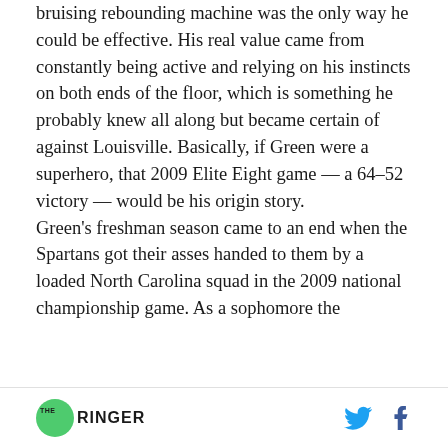bruising rebounding machine was the only way he could be effective. His real value came from constantly being active and relying on his instincts on both ends of the floor, which is something he probably knew all along but became certain of against Louisville. Basically, if Green were a superhero, that 2009 Elite Eight game — a 64–52 victory — would be his origin story.

Green's freshman season came to an end when the Spartans got their asses handed to them by a loaded North Carolina squad in the 2009 national championship game. As a sophomore the
THE RINGER